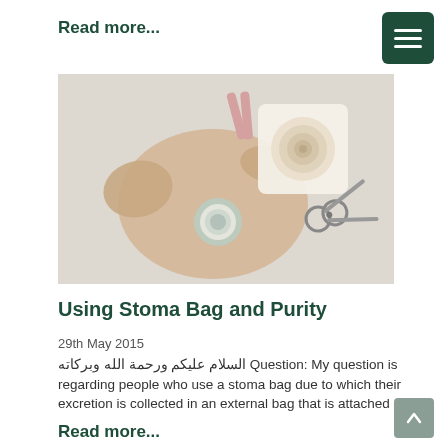Read more...
[Figure (photo): Stoma bag medical supplies laid flat on a white surface, including a beige colostomy pouch, a flange/wafer with spiral design, scissors, and pink clips]
Using Stoma Bag and Purity
29th May 2015
السلام عليكم ورحمة الله وبركاته Question: My question is regarding people who use a stoma bag due to which their excretion is collected in an external bag that is attached
Read more...